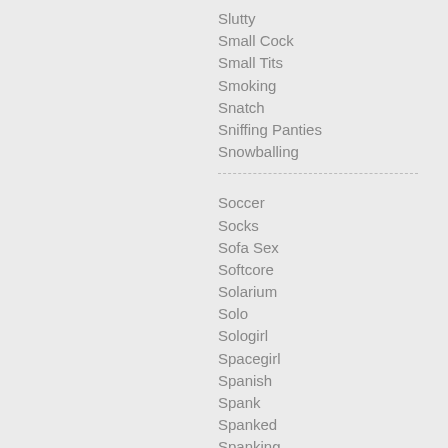Slutty
Small Cock
Small Tits
Smoking
Snatch
Sniffing Panties
Snowballing
Soccer
Socks
Sofa Sex
Softcore
Solarium
Solo
Sologirl
Spacegirl
Spanish
Spank
Spanked
Spanking
Sperm
Spit
Sport